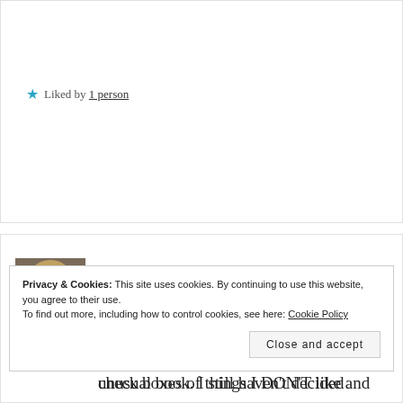Liked by 1 person
Mae Clair   2 years ago
I couldn't read The Family. Too many check boxes of things I DON'T like and avoid reading in fiction.
Privacy & Cookies: This site uses cookies. By continuing to use this website, you agree to their use. To find out more, including how to control cookies, see here: Cookie Policy
Close and accept
unusual book. I still haven't decided